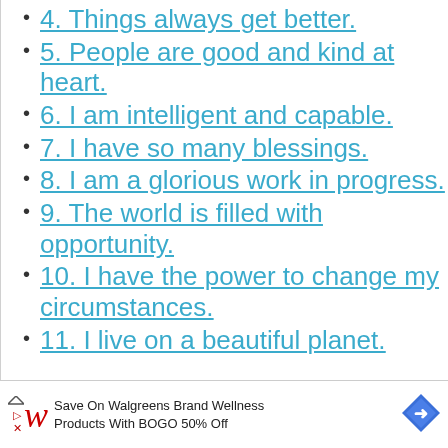4. Things always get better.
5. People are good and kind at heart.
6. I am intelligent and capable.
7. I have so many blessings.
8. I am a glorious work in progress.
9. The world is filled with opportunity.
10. I have the power to change my circumstances.
11. I live on a beautiful planet.
Save On Walgreens Brand Wellness Products With BOGO 50% Off